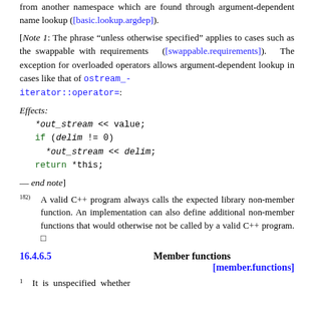from another namespace which are found through argument-dependent name lookup ([basic.lookup.argdep]).
[Note 1: The phrase “unless otherwise specified” applies to cases such as the swappable with requirements ([swappable.requirements]). The exception for overloaded operators allows argument-dependent lookup in cases like that of ostream_iterator::operator=: — end note]
Effects:
*out_stream << value;
if (delim != 0)
  *out_stream << delim;
return *this;
182) A valid C++ program always calls the expected library non-member function. An implementation can also define additional non-member functions that would otherwise not be called by a valid C++ program.
16.4.6.5    Member functions [member.functions]
1  It is unspecified whether